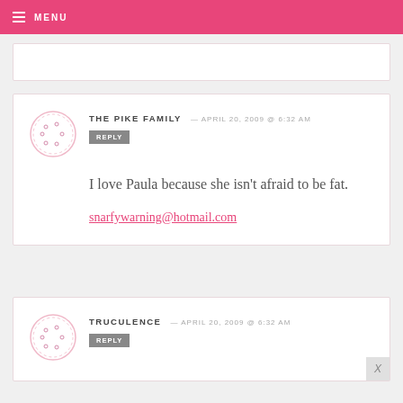MENU
THE PIKE FAMILY — APRIL 20, 2009 @ 6:32 AM
REPLY

I love Paula because she isn't afraid to be fat.

snarfywarning@hotmail.com
TRUCULENCE — APRIL 20, 2009 @ 6:32 AM
REPLY